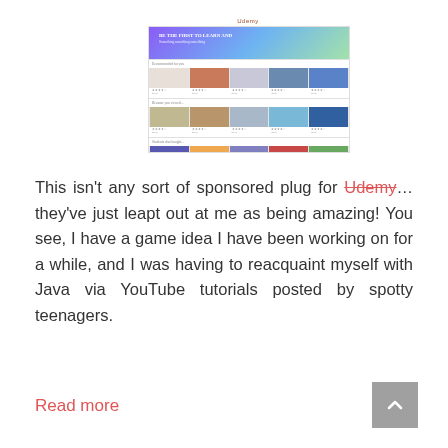[Figure (screenshot): Screenshot of the Udemy online learning platform website showing course thumbnails in a grid layout with a promotional banner at the top featuring a mobile device and green call-to-action button]
This isn't any sort of sponsored plug for Udemy... they've just leapt out at me as being amazing! You see, I have a game idea I have been working on for a while, and I was having to reacquaint myself with Java via YouTube tutorials posted by spotty teenagers.
Read more